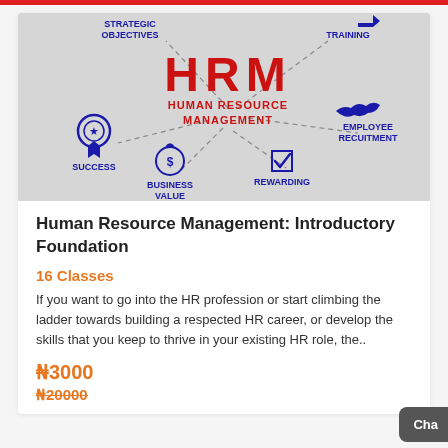[Figure (infographic): HRM Human Resource Management infographic showing connected concepts: Strategic Objectives, Training, Success, Employee Recruitment, Business Value, Rewarding — with icons and dashed lines radiating from center HRM text in red and blue.]
Human Resource Management: Introductory Foundation
16 Classes
If you want to go into the HR profession or start climbing the ladder towards building a respected HR career, or develop the skills that you keep to thrive in your existing HR role, the..
₦3000
₦20000